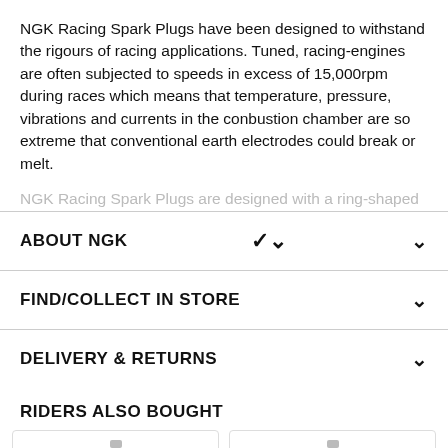NGK Racing Spark Plugs have been designed to withstand the rigours of racing applications. Tuned, racing-engines are often subjected to speeds in excess of 15,000rpm during races which means that temperature, pressure, vibrations and currents in the conbustion chamber are so extreme that conventional earth electrodes could break or melt.
NGK Racing Spark Plugs are designed with a ring-shaped
ABOUT NGK
FIND/COLLECT IN STORE
DELIVERY & RETURNS
RIDERS ALSO BOUGHT
[Figure (photo): Two product images of NGK spark plugs partially visible at the bottom of the page]